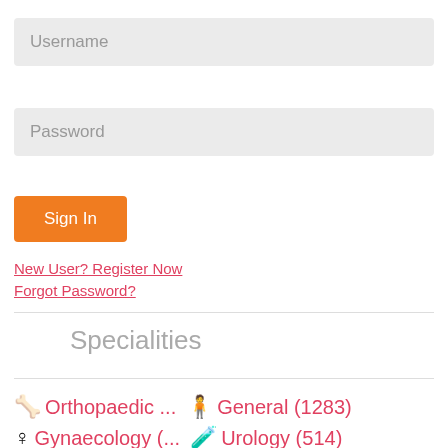Username
Password
Sign In
New User? Register Now
Forgot Password?
Specialities
🏋 Orthopaedic ... 🧍 General (1283)
♀ Gynaecology (... 🧪 Urology (514)